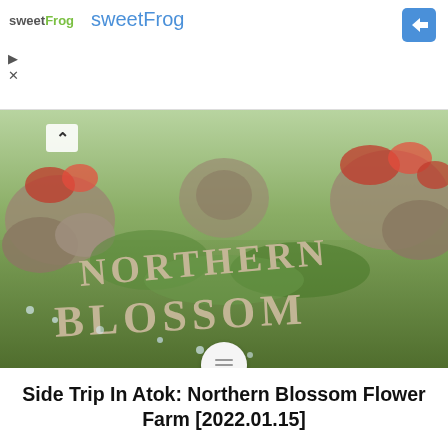sweetFrog sweetFrog
[Figure (photo): Outdoor garden photo showing stone-carved letters spelling 'NORTHERN BLOSSOM' surrounded by flowering plants and rocks at Northern Blossom Flower Farm.]
Side Trip In Atok: Northern Blossom Flower Farm [2022.01.15]
The Northern Blossom Flower Farm was really the highlight of my trip to Baguio. Before we go any further, we had planned this part of the trip before even COVID hit. We were planning to go right after Panagbenga in 2020, not